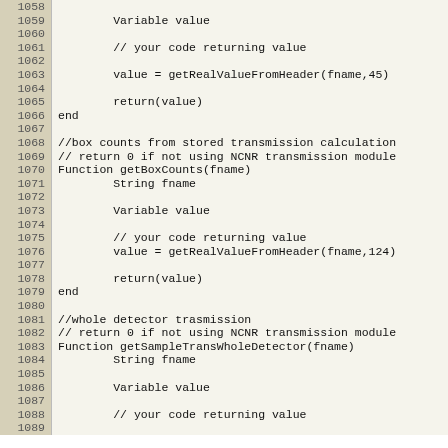Code listing lines 1058-1089 showing Variable/Function definitions in a scripting language for NCNR transmission module